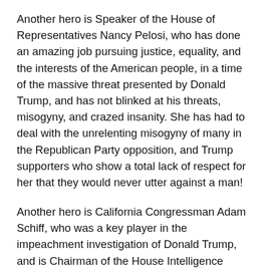Another hero is Speaker of the House of Representatives Nancy Pelosi, who has done an amazing job pursuing justice, equality, and the interests of the American people, in a time of the massive threat presented by Donald Trump, and has not blinked at his threats, misogyny, and crazed insanity. She has had to deal with the unrelenting misogyny of many in the Republican Party opposition, and Trump supporters who show a total lack of respect for her that they would never utter against a man!
Another hero is California Congressman Adam Schiff, who was a key player in the impeachment investigation of Donald Trump, and is Chairman of the House Intelligence Committee. He has suffered from threats and vicious attacks by